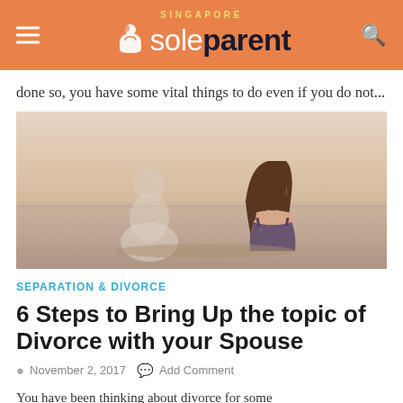SINGAPORE sole parent
done so, you have some vital things to do even if you do not...
[Figure (photo): A man and woman sitting apart with their backs to the camera, looking out over water, suggesting separation or estrangement.]
SEPARATION & DIVORCE
6 Steps to Bring Up the topic of Divorce with your Spouse
November 2, 2017   Add Comment
You have been thinking about divorce for some